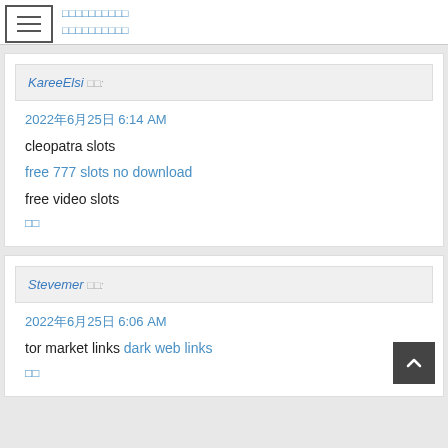KareeElsi □□:
2022年6月25日 6:14 AM
cleopatra slots
free 777 slots no download
free video slots
□□
Stevemer □□:
2022年6月25日 6:06 AM
tor market links dark web links
□□